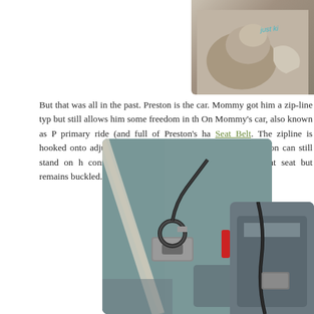[Figure (photo): Photo of a dog, partially visible in top right corner, with 'just ki...' text overlay in teal handwriting style]
But that was all in the past. Preston is the car. Mommy got him a zip-line ty but still allows him some freedom in th On Mommy's car, also known as P primary ride (and full of Preston's ha Seat Belt. The zipline is hooked onto adjustable leash that comes with harness. Preston can still stand on h console. Occasionally, Mommy exten the front seat but remains buckled.
[Figure (photo): Close-up photo of a car seat belt buckle/clasp with a hook attachment, showing the zipline mechanism connected to the seat belt]
[Figure (photo): Another photo showing a car interior detail related to the seat belt or dog restraint system]